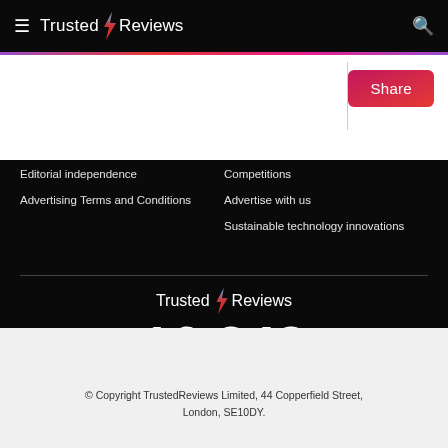Trusted Reviews
Share
Editorial independence
Advertising Terms and Conditions
Competitions
Advertise with us
Sustainable technology innovations
[Figure (logo): Trusted Reviews logo with lightning bolt]
16,248
Products tested and reviewed since 2003
© Copyright TrustedReviews Limited, 44 Copperfield Street, London, SE10DY.